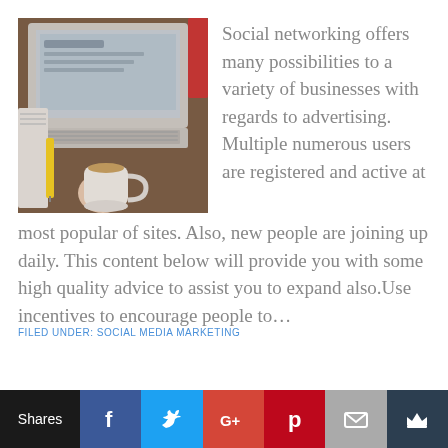[Figure (photo): Overhead view of a person holding a coffee cup at a wooden desk with a laptop, notebook, and yellow pen]
Social networking offers many possibilities to a variety of businesses with regards to advertising. Multiple numerous users are registered and active at most popular of sites. Also, new people are joining up daily. This content below will provide you with some high quality advice to assist you to expand also.Use incentives to encourage people to…
FILED UNDER: SOCIAL MEDIA MARKETING
Shares | Facebook | Twitter | Google+ | Pinterest | Email | Crown